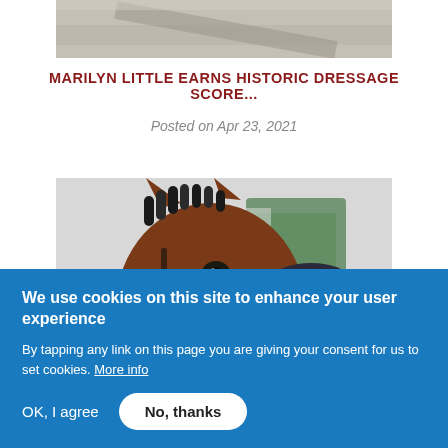[Figure (photo): Partial top view of a sandy equestrian track or road surface, cropped at top]
MARILYN LITTLE EARNS HISTORIC DRESSAGE SCORE...
Posted on Apr 23, 2021
[Figure (photo): Close-up photo of a chestnut horse with braided mane and bridle, with a person wearing a dark cap and black face mask visible behind the horse, outdoors with blurred green and white background]
We use cookies on this site to enhance your user experience
By tapping any link on this page you are giving your consent for us to set cookies. More info
OK, I agree
No, thanks